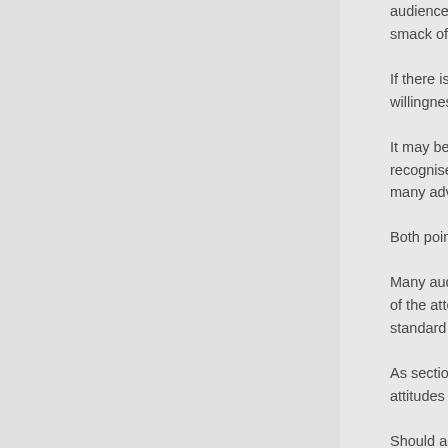audience. Context matters. But on the other advertisers are nervous about doing anything that could smack of interfering with editorial process.
If there is virtually no editorial process, as with the platforms, that shifts. Hence advertisers' willingness to enter the content debate under the banner of brand safety.
It may be that I loathe and detest ‘The Daily Mail’ (actually, I quite like it), but at the same time I can recognise the undoubted skill in it, and it has a sizeable and in many cases appropriate audience for many advertisers.
Both points of view can co-exist, indeed they have done so for many years.
Many audience measurement initiatives, from the WFA’s efforts on cross-media through to the efforts of the attention-measurement companies Intelligence and Lumen are seeking to add nuance to the standard impression metric.
As sections of the media polarise, the ability to recognise the continuing relevance of different attitudes and points of view becomes important.
Should advertisers have a view on a channel’s suitability for their brand, not just around audience numbers but taking into account editorial values and policy? Should advertisers pay any attention to organisational